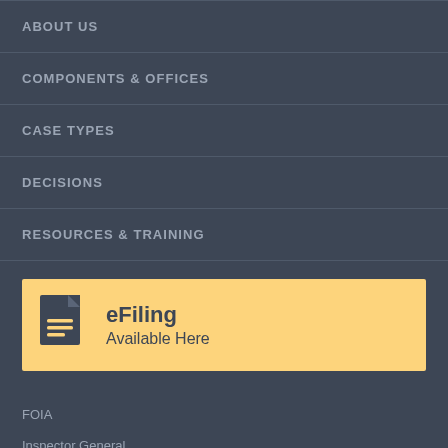ABOUT US
COMPONENTS & OFFICES
CASE TYPES
DECISIONS
RESOURCES & TRAINING
[Figure (infographic): Yellow banner with document icon and text 'eFiling Available Here']
FOIA
Inspector General